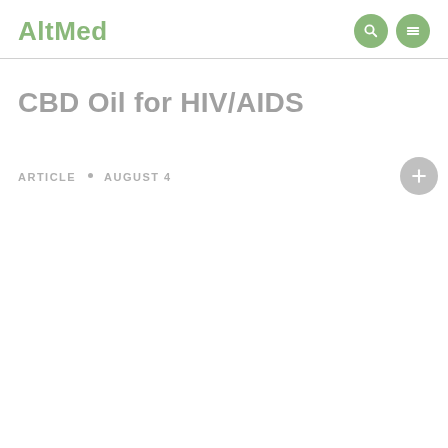AltMed
CBD Oil for HIV/AIDS
ARTICLE • AUGUST 4